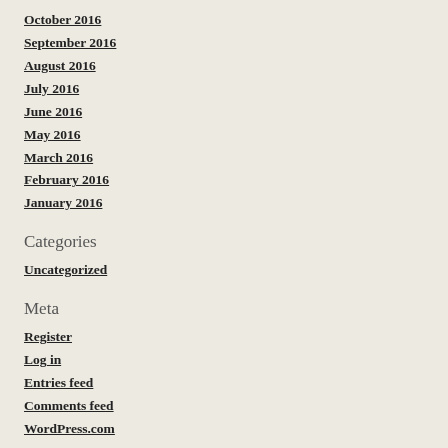October 2016
September 2016
August 2016
July 2016
June 2016
May 2016
March 2016
February 2016
January 2016
Categories
Uncategorized
Meta
Register
Log in
Entries feed
Comments feed
WordPress.com